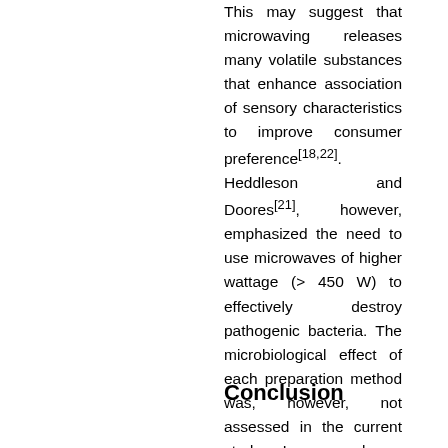This may suggest that microwaving releases many volatile substances that enhance association of sensory characteristics to improve consumer preference[18,22]. Heddleson and Doores[21], however, emphasized the need to use microwaves of higher wattage (> 450 W) to effectively destroy pathogenic bacteria. The microbiological effect of each preparation method was, however, not assessed in the current study. In general, a-typical flavour intensity is negatively correlated to all other sensory attributes especially for different preparatory methods.
Conclusion